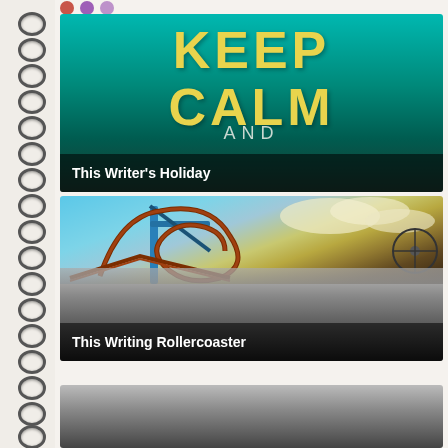[Figure (illustration): Spiral notebook binding running vertically on the left side of the page]
[Figure (photo): Keep Calm and... poster with teal/green gradient background and large yellow bold text reading KEEP CALM, with AND partially visible at bottom. White caption bar reads This Writer's Holiday.]
This Writer's Holiday
[Figure (photo): Rollercoaster photo showing a looping roller coaster track against a blue sky with clouds. Lower portion fades to dark gray/black gradient. Caption bar reads This Writing Rollercoaster.]
This Writing Rollercoaster
[Figure (photo): Partial card at bottom of page, showing only a dark gray gradient, cut off.]